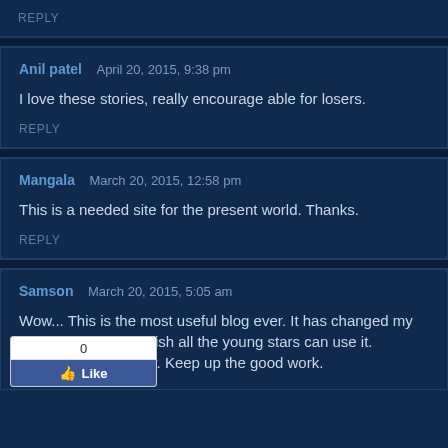REPLY
Anil patel   April 20, 2015, 9:38 pm
I love these stories, really encourage able for losers.
REPLY
Mangala   March 20, 2015, 12:58 pm
This is a needed site for the present world. Thanks.
REPLY
Samson   March 20, 2015, 5:05 am
Wow... This is the most useful blog ever. It has changed my looking at things. I wish all the young stars can use it. Tomorrow starts now. Keep up the good work.